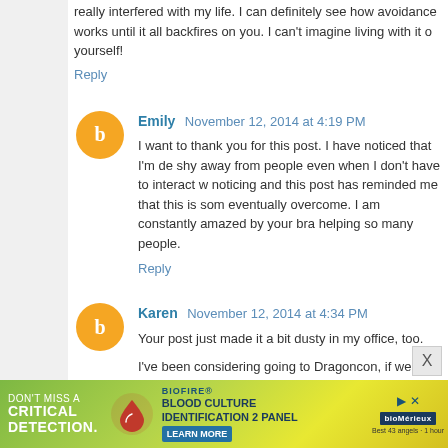really interfered with my life. I can definitely see how avoidance works until it all backfires on you. I can't imagine living with it once you free yourself!
Reply
Emily  November 12, 2014 at 4:19 PM
I want to thank you for this post. I have noticed that I'm de... shy away from people even when I don't have to interact w... noticing and this post has reminded me that this is som... eventually overcome. I am constantly amazed by your bra... helping so many people.
Reply
Karen  November 12, 2014 at 4:34 PM
Your post just made it a bit dusty in my office, too.
I've been considering going to Dragoncon, if we can afford... and I can walk up to you, shake your hand (and John's!), a... alone, in the world I live in, where Anxiety is a large part o... relationship, and it can be so isolating for us, but it's good ... triumphs may feel incremental to others.
[Figure (infographic): Advertisement banner for BioFire Blood Culture Identification 2 Panel with 'DON'T MISS A CRITICAL DETECTION.' text, a blood drop logo, LEARN MORE button, and bioMerieux logo]